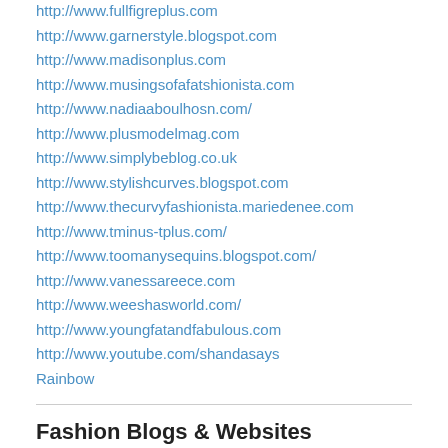http://www.fullfigreplus.com
http://www.garnerstyle.blogspot.com
http://www.madisonplus.com
http://www.musingsofafatshionista.com
http://www.nadiaaboulhosn.com/
http://www.plusmodelmag.com
http://www.simplybeblog.co.uk
http://www.stylishcurves.blogspot.com
http://www.thecurvyfashionista.mariedenee.com
http://www.tminus-tplus.com/
http://www.toomanysequins.blogspot.com/
http://www.vanessareece.com
http://www.weeshasworld.com/
http://www.youngfatandfabulous.com
http://www.youtube.com/shandasays
Rainbow
Fashion Blogs & Websites
http://blog.dotc.com/